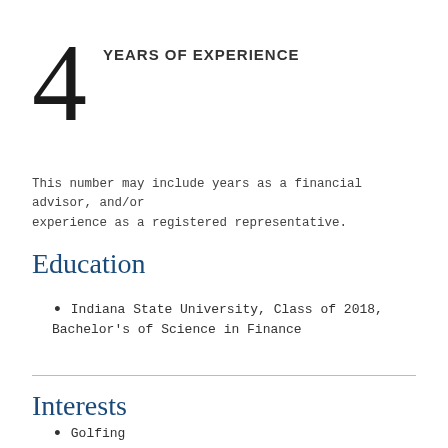4 YEARS OF EXPERIENCE
This number may include years as a financial advisor, and/or experience as a registered representative.
Education
Indiana State University, Class of 2018, Bachelor's of Science in Finance
Interests
Golfing